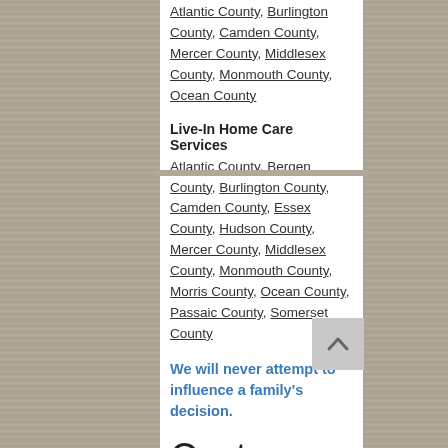Atlantic County, Burlington County, Camden County, Mercer County, Middlesex County, Monmouth County, Ocean County
Live-In Home Care Services
Atlantic County, Bergen County, Burlington County, Camden County, Essex County, Hudson County, Mercer County, Middlesex County, Monmouth County, Morris County, Ocean County, Passaic County, Somerset County
We will never attempt to influence a family's decision.
Customer Testimonials